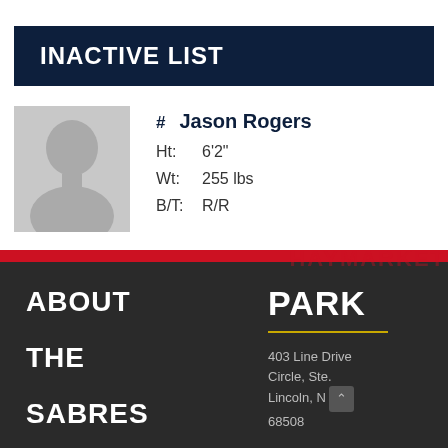INACTIVE LIST
[Figure (photo): Silhouette placeholder photo of a player]
# Jason Rogers
Ht: 6'2"
Wt: 255 lbs
B/T: R/R
HAYMARKET
ABOUT
THE
SABRES
PARK
403 Line Drive Circle, Ste. Lincoln, NE 68508